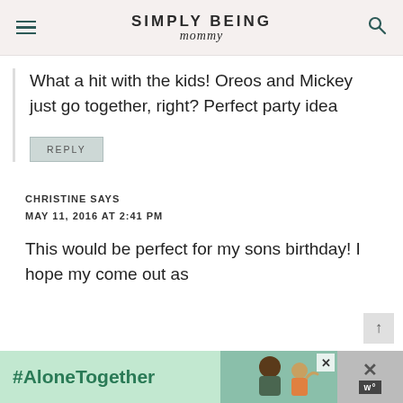SIMPLY BEING mommy
What a hit with the kids! Oreos and Mickey just go together, right? Perfect party idea
REPLY
CHRISTINE SAYS
MAY 11, 2016 AT 2:41 PM
This would be perfect for my sons birthday! I hope my come out as
[Figure (screenshot): Ad banner at the bottom: green background with #AloneTogether hashtag, photo of man and child, close button, and logo area]